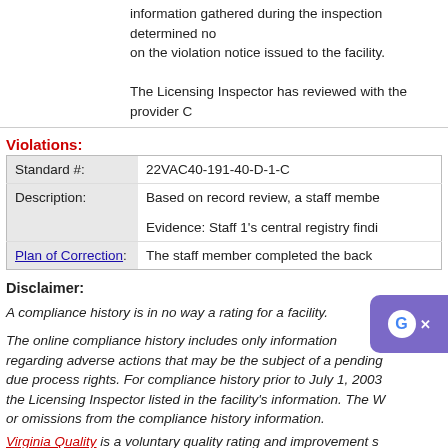information gathered during the inspection determined no changes on the violation notice issued to the facility.

The Licensing Inspector has reviewed with the provider C
Violations:
|  |  |
| --- | --- |
| Standard #: | 22VAC40-191-40-D-1-C |
| Description: | Based on record review, a staff membe

Evidence: Staff 1's central registry findi |
| Plan of Correction: | The staff member completed the back |
Disclaimer:
A compliance history is in no way a rating for a facility.
The online compliance history includes only information regarding adverse actions that may be the subject of a pending due process rights. For compliance history prior to July 1, 2003 the Licensing Inspector listed in the facility's information. The V or omissions from the compliance history information.
Virginia Quality is a voluntary quality rating and improvement s